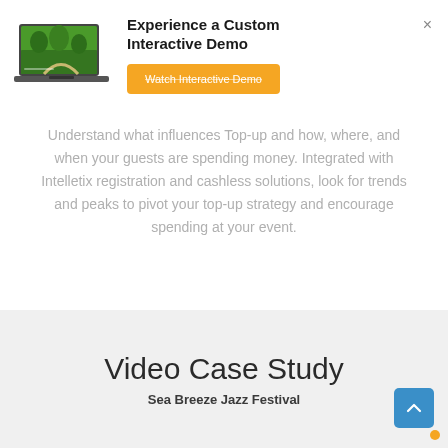[Figure (screenshot): Laptop computer showing a green outdoor scene with trees, representing an interactive demo preview image]
Experience a Custom Interactive Demo
Watch Interactive Demo
Understand what influences Top-up and how, where, and when your guests are spending money. Integrated with Intelletix registration and cashless solutions, look for trends and peaks to pivot your top-up strategy and encourage spending at your event.
Video Case Study
Sea Breeze Jazz Festival